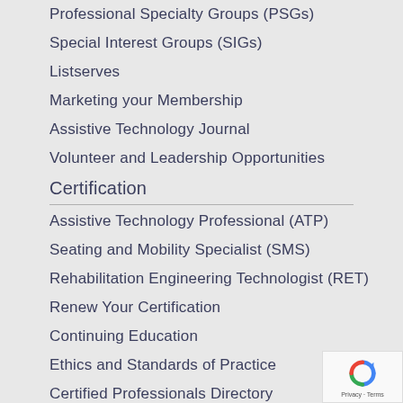Professional Specialty Groups (PSGs)
Special Interest Groups (SIGs)
Listserves
Marketing your Membership
Assistive Technology Journal
Volunteer and Leadership Opportunities
Certification
Assistive Technology Professional (ATP)
Seating and Mobility Specialist (SMS)
Rehabilitation Engineering Technologist (RET)
Renew Your Certification
Continuing Education
Ethics and Standards of Practice
Certified Professionals Directory